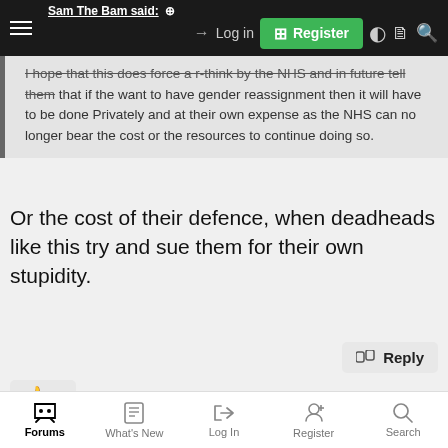Sam The Bam said: [navigation bar with Log in, Register, toggle, document, search icons]
I hope that this does force a r-think by the NHS and in future tell them that if the want to have gender reassignment then it will have to be done Privately and at their own expense as the NHS can no longer bear the cost or the resources to continue doing so.
Or the cost of their defence, when deadheads like this try and sue them for their own stupidity.
Reply
👍 1
LanceBombardEars
War Hero
Forums | What's New | Log In | Register | Search